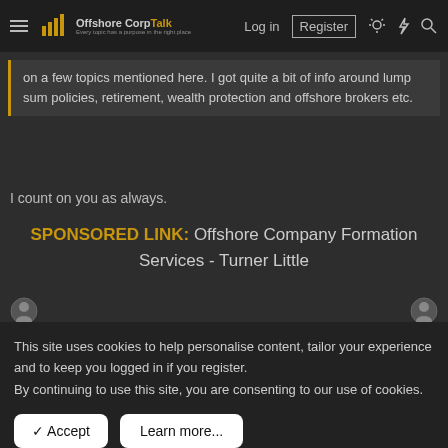OffshoreCorpTalk | Log in | Register
on a few topics mentioned here. I got quite a bit of info around lump sum policies, retirement, wealth protection and offshore brokers etc.
I count on you as always.
SPONSORED LINK: Offshore Company Formation Services - Turner Little
This site uses cookies to help personalise content, tailor your experience and to keep you logged in if you register.
By continuing to use this site, you are consenting to our use of cookies.
Accept | Learn more...
[Figure (screenshot): Advertisement banner for DLS Dubai - Residence Visa Dubai with CLICK HERE button]